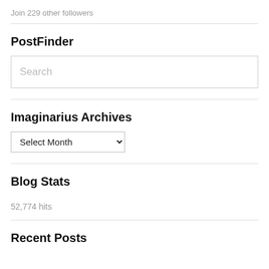Join 229 other followers
PostFinder
Search
Imaginarius Archives
Select Month
Blog Stats
52,774 hits
Recent Posts